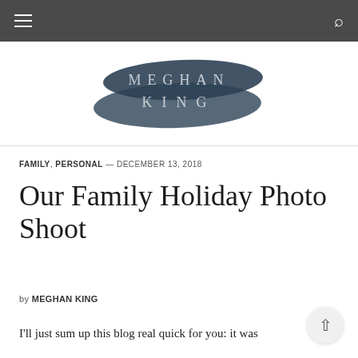≡   🔍
[Figure (logo): Meghan King blog logo — brushstroke background in dark blue-grey with 'MEGHAN KING' text in light serif letters]
FAMILY, PERSONAL — DECEMBER 13, 2018
Our Family Holiday Photo Shoot
by MEGHAN KING
I'll just sum up this blog real quick for you: it was